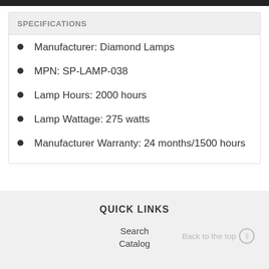SPECIFICATIONS
Manufacturer: Diamond Lamps
MPN: SP-LAMP-038
Lamp Hours: 2000 hours
Lamp Wattage: 275 watts
Manufacturer Warranty: 24 months/1500 hours
QUICK LINKS
Search
Catalog
Back to the top